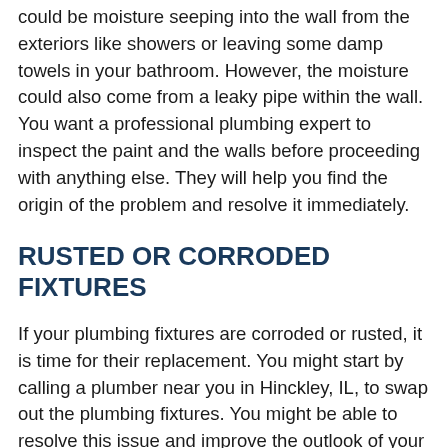could be moisture seeping into the wall from the exteriors like showers or leaving some damp towels in your bathroom. However, the moisture could also come from a leaky pipe within the wall. You want a professional plumbing expert to inspect the paint and the walls before proceeding with anything else. They will help you find the origin of the problem and resolve it immediately.
RUSTED OR CORRODED FIXTURES
If your plumbing fixtures are corroded or rusted, it is time for their replacement. You might start by calling a plumber near you in Hinckley, IL, to swap out the plumbing fixtures. You might be able to resolve this issue and improve the outlook of your bathroom entirely.
However, you want the fixtures removed swiftly because the rust can enter the fixtures, meaning